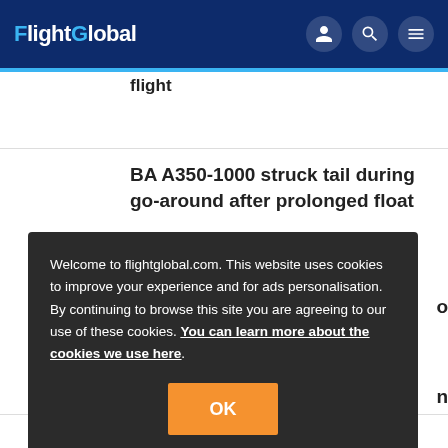FlightGlobal
flight
BA A350-1000 struck tail during go-around after prolonged float
Welcome to flightglobal.com. This website uses cookies to improve your experience and for ads personalisation. By continuing to browse this site you are agreeing to our use of these cookies. You can learn more about the cookies we use here.
OK
Top 100 aerospace companies ranked by